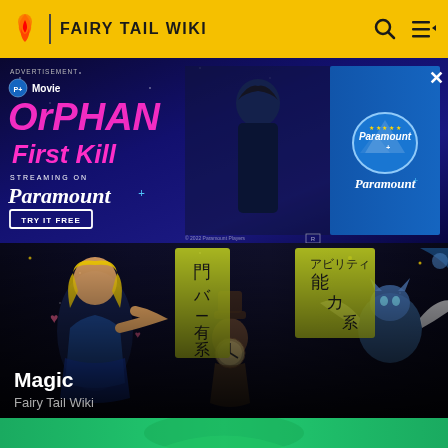FAIRY TAIL WIKI
[Figure (screenshot): Paramount+ advertisement banner for Orphan: First Kill. Dark blue background with pink text reading 'Orphan First Kill', 'Streaming on Paramount+', 'TRY IT FREE' button, woman silhouette in center, Paramount+ logo on right blue panel.]
[Figure (screenshot): Fairy Tail anime screenshot showing anime characters including a blonde character, a clock/puppet character, and a winged creature against a dark background with Japanese text signs reading ability/power categories.]
Magic
Fairy Tail Wiki
[Figure (screenshot): Bottom strip showing partial anime image in green/teal colors.]